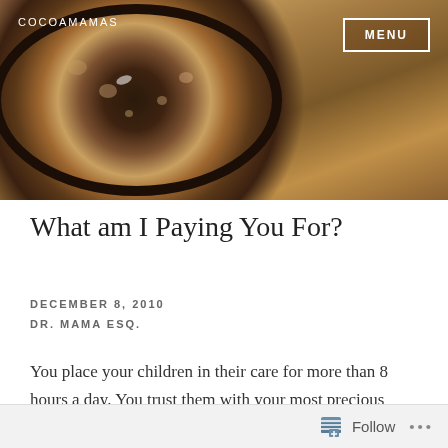[Figure (photo): Top-down view of a cocoa/chocolate drink in a dark cup with foam, placed on a wooden surface. Photo fills the header area of the blog page.]
COCOAMAMAS
MENU
What am I Paying You For?
DECEMBER 8, 2010
DR. MAMA ESQ.
You place your children in their care for more than 8 hours a day. You trust them with your most precious possession; those little bodies that you nurtured and grew inside of you for nine months; or else waited patiently for months, maybe years to become their mama. Many of you came out of the
Follow